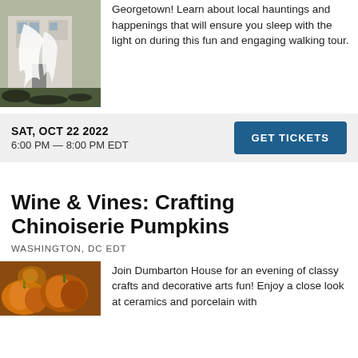[Figure (photo): Halloween decorated house exterior with ghostly white fabric draped over yard, spooky decorations visible]
Georgetown! Learn about local hauntings and happenings that will ensure you sleep with the light on during this fun and engaging walking tour.
SAT, OCT 22 2022
6:00 PM — 8:00 PM EDT
GET TICKETS
Wine & Vines: Crafting Chinoiserie Pumpkins
WASHINGTON, DC EDT
[Figure (photo): Close-up of decorative pumpkins with warm orange and golden tones]
Join Dumbarton House for an evening of classy crafts and decorative arts fun! Enjoy a close look at ceramics and porcelain with